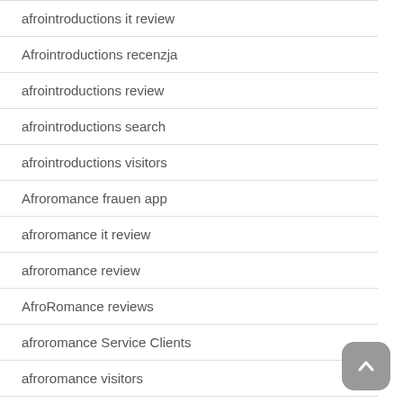afrointroductions it review
Afrointroductions recenzja
afrointroductions review
afrointroductions search
afrointroductions visitors
Afroromance frauen app
afroromance it review
afroromance review
AfroRomance reviews
afroromance Service Clients
afroromance visitors
afroromance-inceleme visitors